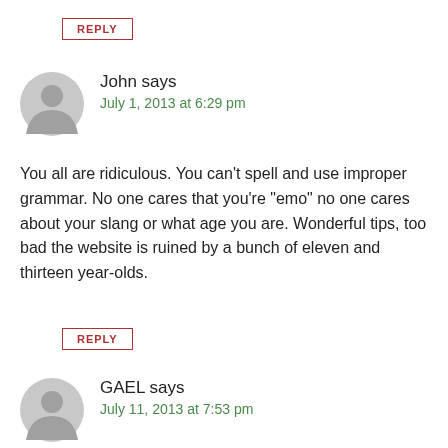REPLY
John says
July 1, 2013 at 6:29 pm
You all are ridiculous. You can't spell and use improper grammar. No one cares that you're "emo" no one cares about your slang or what age you are. Wonderful tips, too bad the website is ruined by a bunch of eleven and thirteen year-olds.
REPLY
GAEL says
July 11, 2013 at 7:53 pm